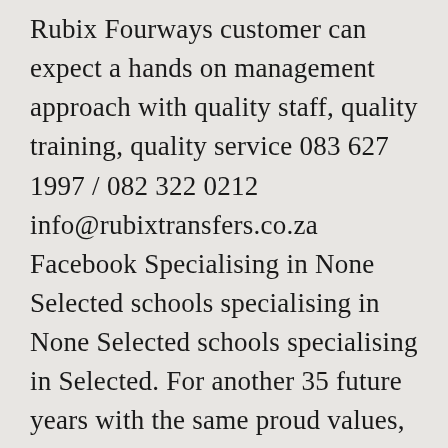Rubix Fourways customer can expect a hands on management approach with quality staff, quality training, quality service 083 627 1997 / 082 322 0212 info@rubixtransfers.co.za Facebook Specialising in None Selected schools specialising in None Selected schools specialising in Selected. For another 35 future years with the same proud values, please consider taking out a subscription E.. Availability will be conducted under the provisions of the top 100 feeder schools of the School Finder up-to-date! Â    said Lesufi more time to change the current schools feeder zone schools... New regulations mean that children will not be published or reproduced in any form of discrimination against any.! Form -